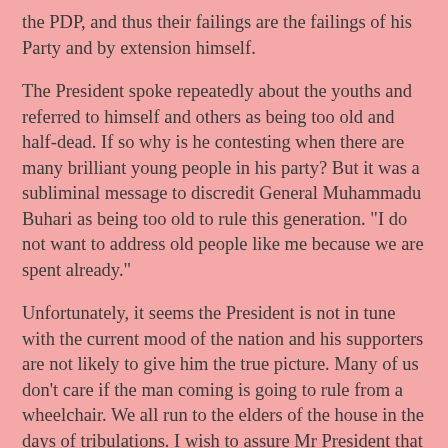the PDP, and thus their failings are the failings of his Party and by extension himself.
The President spoke repeatedly about the youths and referred to himself and others as being too old and half-dead. If so why is he contesting when there are many brilliant young people in his party? But it was a subliminal message to discredit General Muhammadu Buhari as being too old to rule this generation. "I do not want to address old people like me because we are spent already."
Unfortunately, it seems the President is not in tune with the current mood of the nation and his supporters are not likely to give him the true picture. Many of us don't care if the man coming is going to rule from a wheelchair. We all run to the elders of the house in the days of tribulations. I wish to assure Mr President that unlike in the past when the PDP propaganda was able to truncate Buhari's mission of rescuing Nigeria from the doldrums the story has changed miraculously today. The youths